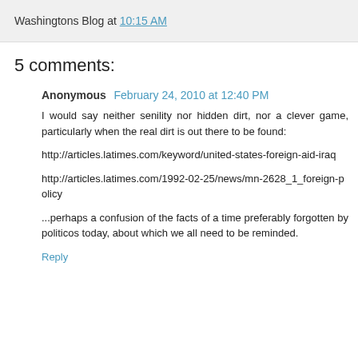Washingtons Blog at 10:15 AM
5 comments:
Anonymous February 24, 2010 at 12:40 PM
I would say neither senility nor hidden dirt, nor a clever game, particularly when the real dirt is out there to be found:
http://articles.latimes.com/keyword/united-states-foreign-aid-iraq
http://articles.latimes.com/1992-02-25/news/mn-2628_1_foreign-policy
...perhaps a confusion of the facts of a time preferably forgotten by politicos today, about which we all need to be reminded.
Reply